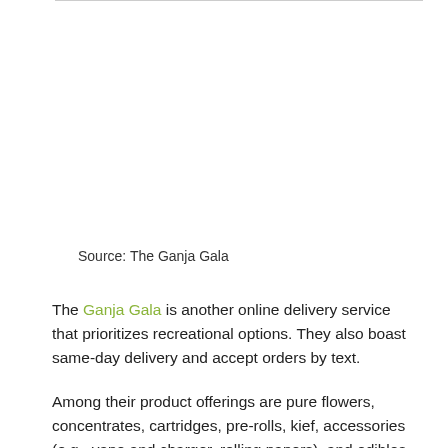Source: The Ganja Gala
The Ganja Gala is another online delivery service that prioritizes recreational options. They also boast same-day delivery and accept orders by text.
Among their product offerings are pure flowers, concentrates, cartridges, pre-rolls, kief, accessories (e.g., vape and charger, rolling papers), and edibles, as well as their exclusive, handcrafted Greased